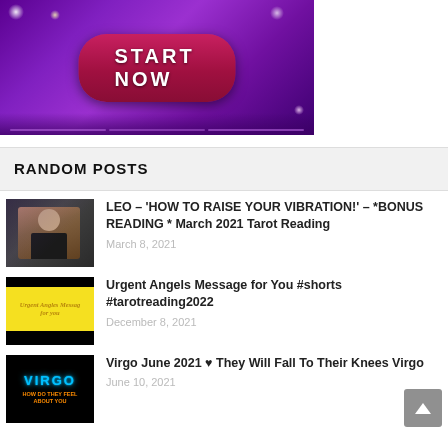[Figure (illustration): Purple/violet glowing banner background with a pink-red rounded button saying START NOW in bold white capital letters]
RANDOM POSTS
[Figure (photo): Dark thumbnail showing a person (woman) against a patterned background]
LEO – 'HOW TO RAISE YOUR VIBRATION!' – *BONUS READING * March 2021 Tarot Reading
March 8, 2021
[Figure (photo): Thumbnail with black top and bottom bars and yellow center with italic text: Urgent Angles Messag for you]
Urgent Angels Message for You #shorts #tarotreading2022
December 8, 2021
[Figure (photo): Black thumbnail with VIRGO in cyan and orange text: HOW DO THEY FEEL ABOUT YOU]
Virgo June 2021 ♥ They Will Fall To Their Knees Virgo
June 10, 2021